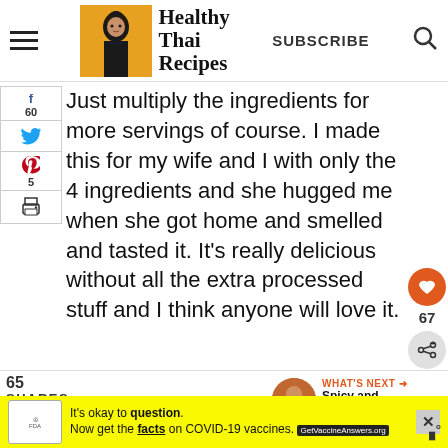Healthy Thai Recipes — SUBSCRIBE
Just multiply the ingredients for more servings of course.  I made this for my wife and I with only the 4 ingredients and she hugged me when she got home and smelled and tasted it.  It's really delicious without all the extra processed stuff and I think anyo will love it.
65
SHARES
[Figure (photo): Food ingredients photo showing vegetables, garlic, and a white bowl with spices]
WHAT'S NEXT → Spicy and Sour Instant...
It's okay to question. Now get the facts on COVID-19 vaccines. GetVaccineAnswers.org